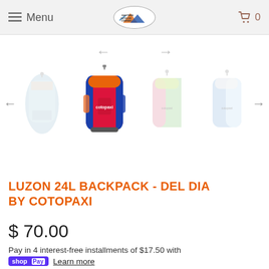Menu | Eastern Outdoor Company | Cart 0
[Figure (photo): Product image carousel showing Cotopaxi Luzon 24L Backpack Del Dia in multiple colorway variants. Center image (active) shows a red and blue backpack; flanking images show other colorways in muted/faded style. Left and right navigation arrows visible.]
LUZON 24L BACKPACK - DEL DIA BY COTOPAXI
$ 70.00
Pay in 4 interest-free installments of $17.50 with
shop Pay  Learn more